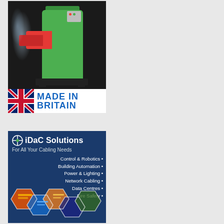[Figure (photo): Industrial green cylindrical boiler with red burner attachment, steam visible, on black base. Made in Britain logo below with Union Jack flag.]
[Figure (infographic): iDaC Solutions advertisement on dark blue background. Logo with cross icon. Text: For All Your Cabling Needs. Services listed: Control & Robotics, Building Automation, Power & Lighting, Network Cabling, Data Centres, Fire Safety. Hexagonal image grid at bottom showing industrial cable installations.]